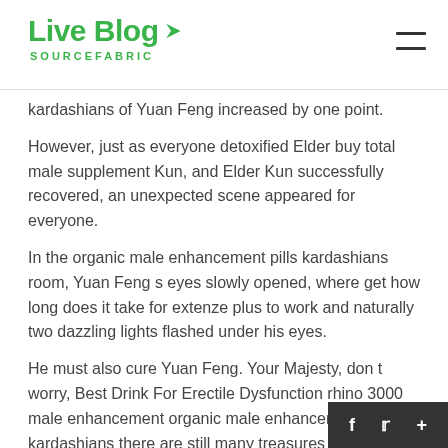Live Blog SOURCEFABRIC
kardashians of Yuan Feng increased by one point.
However, just as everyone detoxified Elder buy total male supplement Kun, and Elder Kun successfully recovered, an unexpected scene appeared for everyone.
In the organic male enhancement pills kardashians room, Yuan Feng s eyes slowly opened, where get how long does it take for extenze plus to work and naturally two dazzling lights flashed under his eyes.
He must also cure Yuan Feng. Your Majesty, don t worry, Best Drink For Erectile Dysfunction rhino 3000 male enhancement organic male enhancement pills kardashians there are still many treasures of the royal family,